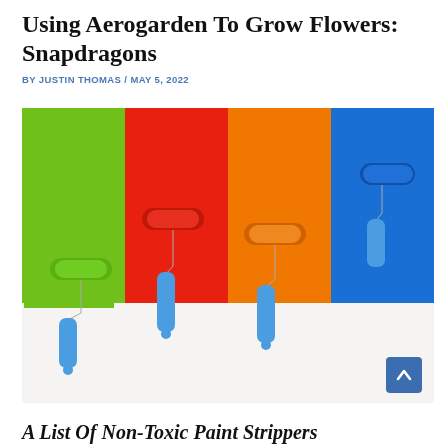Using Aerogarden To Grow Flowers: Snapdragons
BY JUSTIN THOMAS / MAY 5, 2022
[Figure (photo): Four paint rollers with blue handles rolling stripes of green, red, orange, and blue paint on a white surface.]
A List Of Non-Toxic Paint Strippers